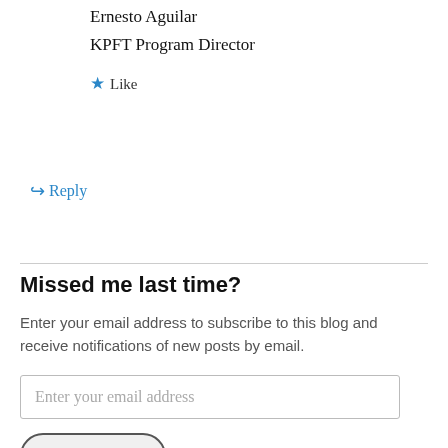Ernesto Aguilar
KPFT Program Director
★ Like
↪ Reply
Missed me last time?
Enter your email address to subscribe to this blog and receive notifications of new posts by email.
Enter your email address
Sign me up!
Join 152 other followers